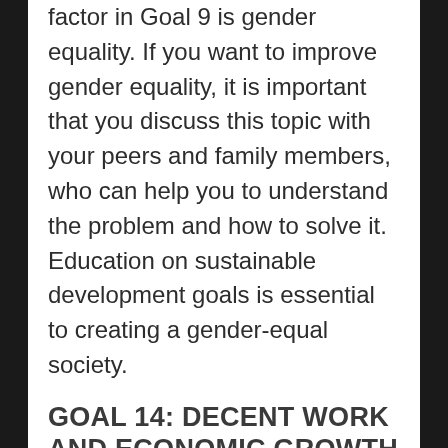factor in Goal 9 is gender equality. If you want to improve gender equality, it is important that you discuss this topic with your peers and family members, who can help you to understand the problem and how to solve it. Education on sustainable development goals is essential to creating a gender-equal society.
GOAL 14: DECENT WORK AND ECONOMIC GROWTH THAT IS ENVIRONMENTALLY SUSTAINABLE
Work is one of the most important aspects of our lives. If we do not have